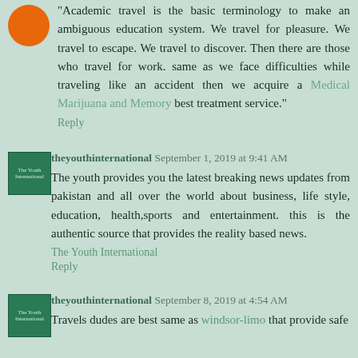"Academic travel is the basic terminology to make an ambiguous education system. We travel for pleasure. We travel to escape. We travel to discover. Then there are those who travel for work. same as we face difficulties while traveling like an accident then we acquire a Medical Marijuana and Memory best treatment service."
Reply
theyouthinternational September 1, 2019 at 9:41 AM
The youth provides you the latest breaking news updates from pakistan and all over the world about business, life style, education, health,sports and entertainment. this is the authentic source that provides the reality based news.
The Youth International
Reply
theyouthinternational September 8, 2019 at 4:54 AM
Travels dudes are best same as windsor-limo that provide safe